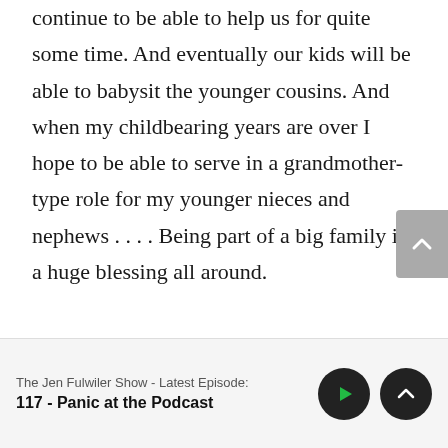But the younger siblings will continue to be able to help us for quite some time. And eventually our kids will be able to babysit the younger cousins. And when my childbearing years are over I hope to be able to serve in a grandmother-type role for my younger nieces and nephews . . . . Being part of a big family is a huge blessing all around.
The Jen Fulwiler Show - Latest Episode:
117 - Panic at the Podcast